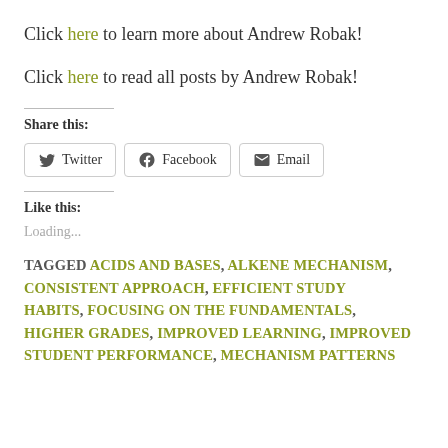Click here to learn more about Andrew Robak!
Click here to read all posts by Andrew Robak!
Share this:
Twitter  Facebook  Email
Like this:
Loading...
TAGGED ACIDS AND BASES, ALKENE MECHANISM, CONSISTENT APPROACH, EFFICIENT STUDY HABITS, FOCUSING ON THE FUNDAMENTALS, HIGHER GRADES, IMPROVED LEARNING, IMPROVED STUDENT PERFORMANCE, MECHANISM PATTERNS